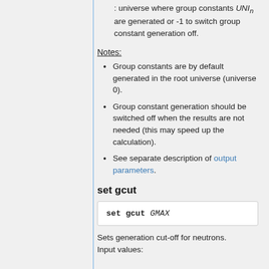: universe where group constants UNI_n are generated or -1 to switch group constant generation off.
Notes:
Group constants are by default generated in the root universe (universe 0).
Group constant generation should be switched off when the results are not needed (this may speed up the calculation).
See separate description of output parameters.
set gcut
set gcut GMAX
Sets generation cut-off for neutrons.
Input values: